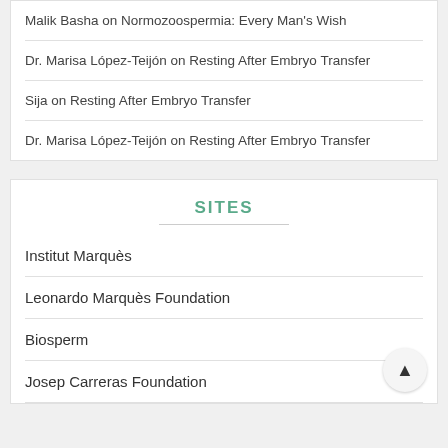Malik Basha on Normozoospermia: Every Man's Wish
Dr. Marisa López-Teijón on Resting After Embryo Transfer
Sija on Resting After Embryo Transfer
Dr. Marisa López-Teijón on Resting After Embryo Transfer
SITES
Institut Marquès
Leonardo Marquès Foundation
Biosperm
Josep Carreras Foundation